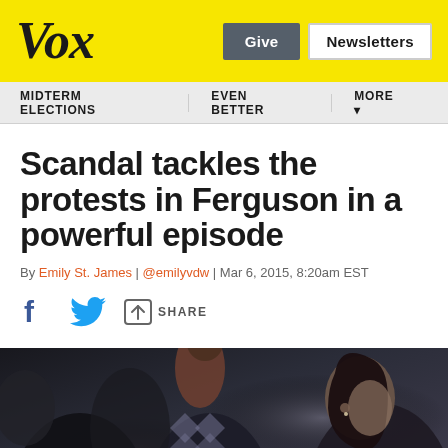Vox | Give | Newsletters
MIDTERM ELECTIONS  EVEN BETTER  MORE
Scandal tackles the protests in Ferguson in a powerful episode
By Emily St. James | @emilyvdw | Mar 6, 2015, 8:20am EST
Share buttons: Facebook, Twitter, Share
[Figure (photo): Dark photo of protesters/crowd scene, showing faces and raised fists, with a woman in profile on the right side.]